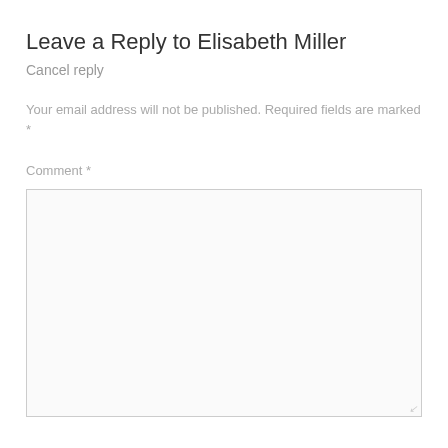Leave a Reply to Elisabeth Miller
Cancel reply
Your email address will not be published. Required fields are marked *
Comment *